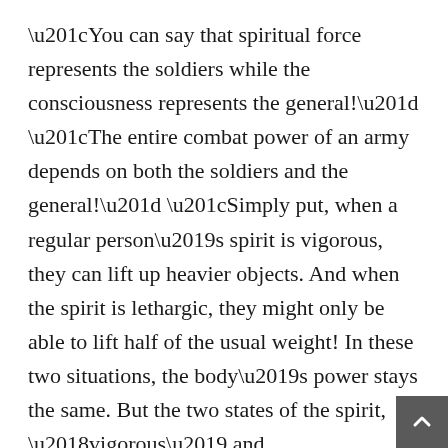“You can say that spiritual force represents the soldiers while the consciousness represents the general!” “The entire combat power of an army depends on both the soldiers and the general!” “Simply put, when a regular person’s spirit is vigorous, they can lift up heavier objects. And when the spirit is lethargic, they might only be able to lift half of the usual weight! In these two situations, the body’s power stays the same. But the two states of the spirit, ‘vigorous’ and ‘lethargic’, could lead to different levels of battle power” “Just like how the consciousness is important to a fighter, the consciousness is also important to spirit readers!” “Capable generals will be better at commanding the soldiers” “If two people are both at the student level nine stage, the one with the more powerful consciousness can accurately control 10 small weapons, or